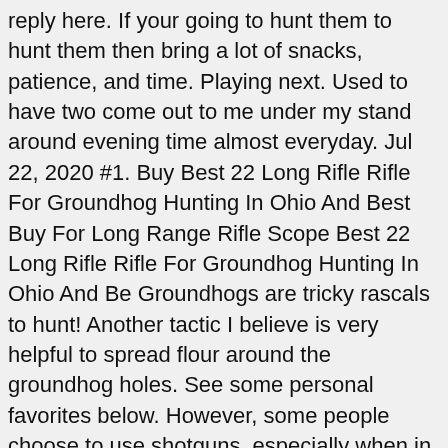reply here. If your going to hunt them to hunt them then bring a lot of snacks, patience, and time. Playing next. Used to have two come out to me under my stand around evening time almost everyday. Jul 22, 2020 #1. Buy Best 22 Long Rifle Rifle For Groundhog Hunting In Ohio And Best Buy For Long Range Rifle Scope Best 22 Long Rifle Rifle For Groundhog Hunting In Ohio And Be Groundhogs are tricky rascals to hunt! Another tactic I believe is very helpful to spread flour around the groundhog holes. See some personal favorites below. However, some people choose to use shotguns, especially when in closed-in areas like barns and sheds. Center-fire rifle: .223 or .243 Because of this, I generally set up of an evening and watch barns and sheds that I know have groundhog holes in them. Shop for Low Price Best 22 Cal Pcp Air Rifle And Best 22 Long Rifle Rifle For Groundhog Hunting In Ohio . ©2020 Jordan Outdoor Enterprises, Ltd. All rights reserved. But groundhogs are highly-patternable. Rifle Sight-in Process | Long-Range Rifle Shooting with Ryan Cleckner - Duration: 11:38. should start to